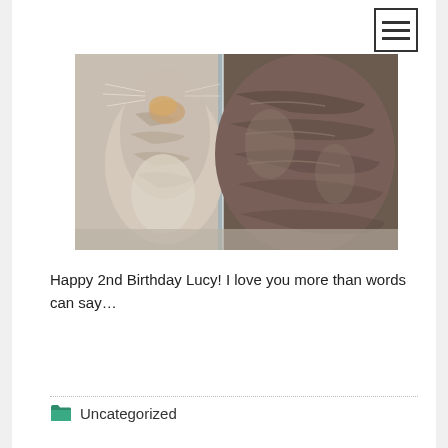[Figure (photo): Close-up photo of a tabby cat looking at its reflection in a mirror or glass surface. The cat's face is close to the glass, showing whiskers and detailed fur texture.]
Happy 2nd Birthday Lucy! I love you more than words can say...
Uncategorized